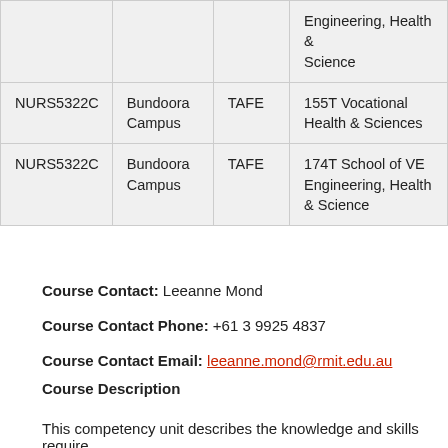| Course Code | Campus | Type | School |
| --- | --- | --- | --- |
|  |  |  | Engineering, Health & Science |
| NURS5322C | Bundoora Campus | TAFE | 155T Vocational Health & Sciences |
| NURS5322C | Bundoora Campus | TAFE | 174T School of VE Engineering, Health & Science |
Course Contact: Leeanne Mond
Course Contact Phone: +61 3 9925 4837
Course Contact Email: leeanne.mond@rmit.edu.au
Course Description
This competency unit describes the knowledge and skills require